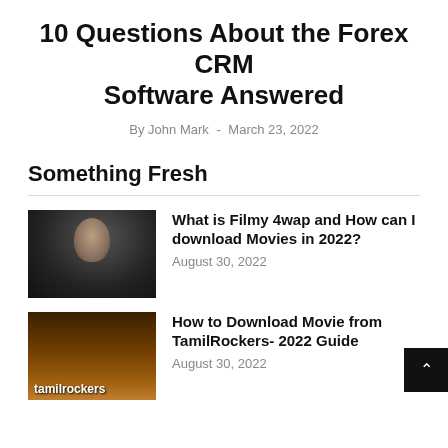10 Questions About the Forex CRM Software Answered
By John Mark  -  March 23, 2022
Something Fresh
[Figure (photo): Dark image of a person sitting with a glowing laptop screen, with 'Filmy4wap' text overlay in red]
What is Filmy 4wap and How can I download Movies in 2022?
August 30, 2022
[Figure (photo): Image of a brick wall with warm orange/yellow light, with 'tamilrockers' text overlay]
How to Download Movie from TamilRockers- 2022 Guide
August 30, 2022